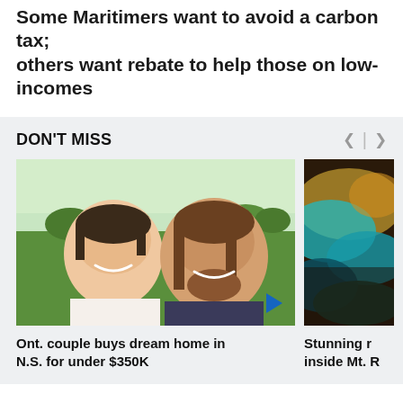Some Maritimers want to avoid a carbon tax; others want rebate to help those on low-incomes
DON'T MISS
[Figure (photo): Two young men smiling outdoors in a green field with trees in background. A blue play button triangle appears at bottom right.]
Ont. couple buys dream home in N.S. for under $350K
[Figure (photo): Partial image showing colorful blurred abstract imagery with teal, orange, and dark tones, partially cropped.]
Stunning r... inside Mt. R...